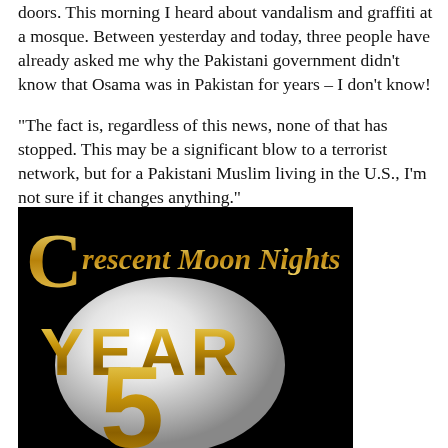doors. This morning I heard about vandalism and graffiti at a mosque. Between yesterday and today, three people have already asked me why the Pakistani government didn't know that Osama was in Pakistan for years – I don't know!
“The fact is, regardless of this news, none of that has stopped. This may be a significant blow to a terrorist network, but for a Pakistani Muslim living in the U.S., I’m not sure if it changes anything.”
[Figure (logo): Crescent Moon Nights Year 5 logo: black background with a large gold stylized 'C' on the left, text 'rescent Moon Nights' in gold italic serif font, a large white/silver globe orb in the center, 'YEAR' in large gold bold letters across the orb, and a large gold '5' below.]